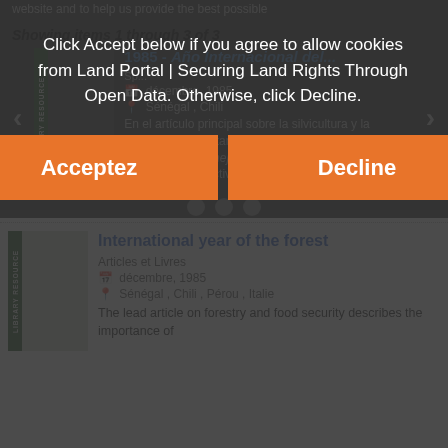website and to help us provide the best possible experience for users.
Showing items 1 through 3 of 3
1985 - Año Internacional del...
décembre, 1985
Sénégal , Chili
En el artículo principal sobre la silvicultura y la seguridad alimentaria se ... la silvicultura el mantenimiento, mejora o rehabilitación de la capacidad productiva de la agricultura, el
Click Accept below if you agree to allow cookies from Land Portal | Securing Land Rights Through Open Data. Otherwise, click Decline.
Acceptez
Decline
International year of the forest
Articles et Livres
décembre, 1985
Sénégal , Chili , Pérou , Italie
The lead article on forestry and food security describes the importance of